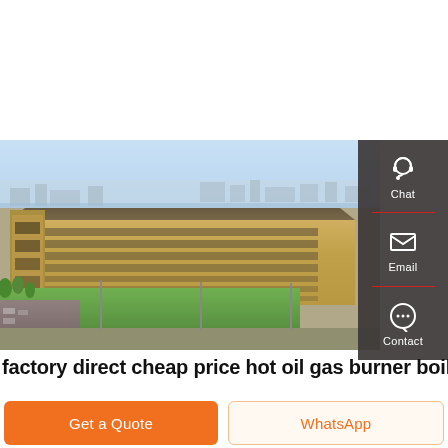[Figure (photo): Aerial view of a large industrial factory complex with a long warehouse building with tan/yellow exterior, green lawn in front, blue sky background with industrial facilities visible in distance. A dark sidebar panel on the right shows Chat, Email, and Contact icons.]
factory direct cheap price hot oil gas burner boiler
Get a Quote
WhatsApp